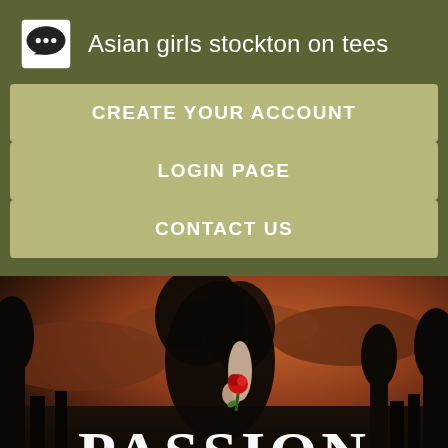Asian girls stockton on tees
CREATE YOUR ACCOUNT
LOGIN PAGE
CONTACT US
[Figure (photo): Book cover showing a young woman in a dark dress holding a red rose, with dramatic cloudy sky background and the word PASSION in large white serif letters at the bottom]